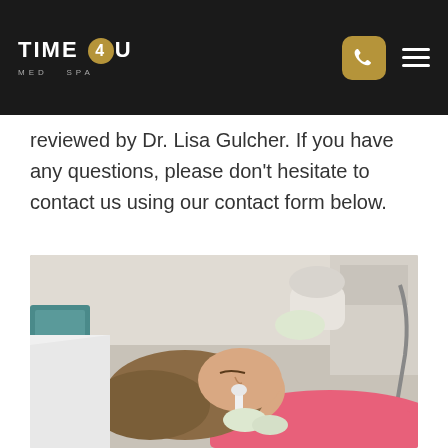TIME 4U MED SPA
reviewed by Dr. Lisa Gulcher. If you have any questions, please don't hesitate to contact us using our contact form below.
[Figure (photo): A woman lying down receiving a facial treatment at a med spa. A gloved practitioner applies a device to her face while holding another device above. The woman is wearing a pink top and has closed eyes.]